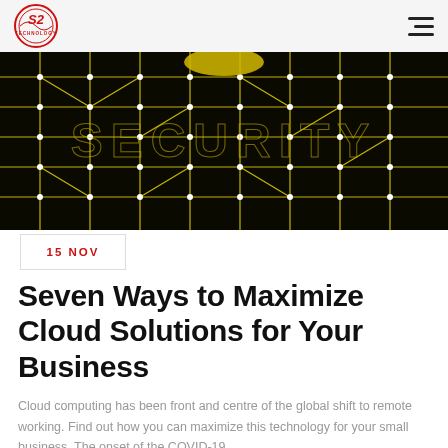S2 Technology logo and navigation menu
[Figure (photo): Close-up photograph of a black circuit board with yellow/gold circuit traces and white dot components, with the word SECURITY visible in the circuit pattern]
15 NOV
Seven Ways to Maximize Cloud Solutions for Your Business
Cloud computing has been front and centre of the global shift to remote working. Find out how you can maximize this technology for your small business. The onset of the COVID-19